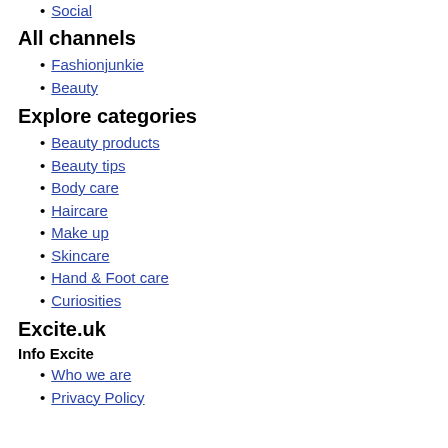Social
All channels
Fashionjunkie
Beauty
Explore categories
Beauty products
Beauty tips
Body care
Haircare
Make up
Skincare
Hand & Foot care
Curiosities
Excite.uk
Info Excite
Who we are
Privacy Policy